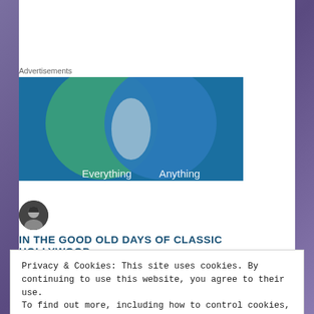Advertisements
[Figure (illustration): Advertisement banner showing a Venn diagram with two overlapping circles on a blue/teal background. Left circle is green/teal, right circle is blue. Overlapping area shows a lighter blue-grey teardrop. Text 'Everything' on left and 'Anything' on right is partially visible at the bottom.]
[Figure (photo): Circular avatar photo of a woman, appears to be a black and white portrait. Used as blog author avatar.]
IN THE GOOD OLD DAYS OF CLASSIC HOLLYWOOD
Privacy & Cookies: This site uses cookies. By continuing to use this website, you agree to their use.
To find out more, including how to control cookies, see here: Cookie Policy
Close and accept
Also, don't forget to check out my latest